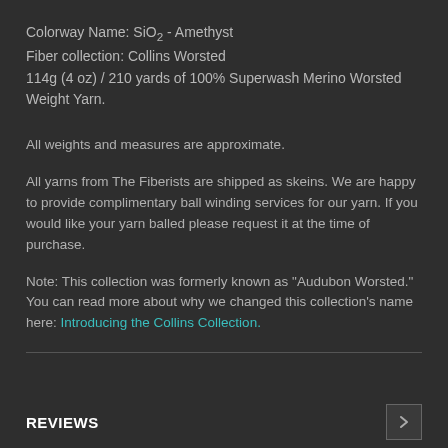Colorway Name: SiO₂ - Amethyst
Fiber collection: Collins Worsted
114g (4 oz) / 210 yards of 100% Superwash Merino Worsted Weight Yarn.
All weights and measures are approximate.
All yarns from The Fiberists are shipped as skeins. We are happy to provide complimentary ball winding services for our yarn. If you would like your yarn balled please request it at the time of purchase.
Note: This collection was formerly known as "Audubon Worsted." You can read more about why we changed this collection's name here: Introducing the Collins Collection.
REVIEWS